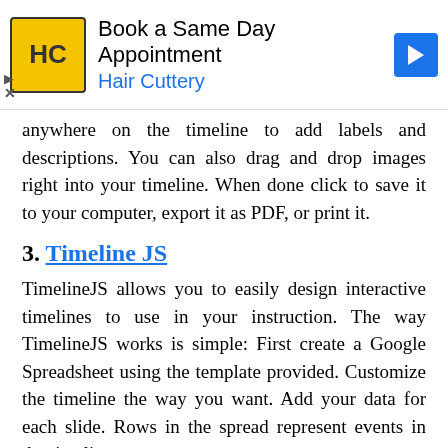[Figure (other): Advertisement banner for Hair Cuttery: Book a Same Day Appointment]
anywhere on the timeline to add labels and descriptions. You can also drag and drop images right into your timeline. When done click to save it to your computer, export it as PDF, or print it.
3. Timeline JS
TimelineJS allows you to easily design interactive timelines to use in your instruction. The way TimelineJS works is simple: First create a Google Spreadsheet using the template provided. Customize the timeline the way you want. Add your data for each slide. Rows in the spread represent events in the timeline.